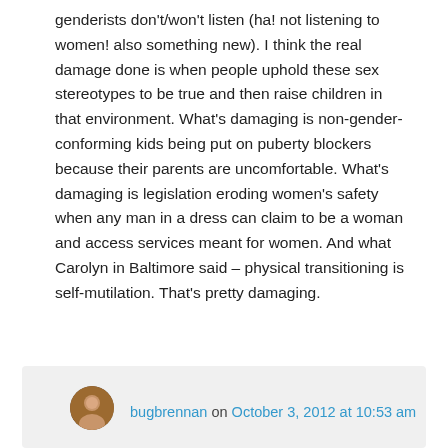genderists don't/won't listen (ha! not listening to women! also something new). I think the real damage done is when people uphold these sex stereotypes to be true and then raise children in that environment. What's damaging is non-gender-conforming kids being put on puberty blockers because their parents are uncomfortable. What's damaging is legislation eroding women's safety when any man in a dress can claim to be a woman and access services meant for women. And what Carolyn in Baltimore said – physical transitioning is self-mutilation. That's pretty damaging.
bugbrennan on October 3, 2012 at 10:53 am